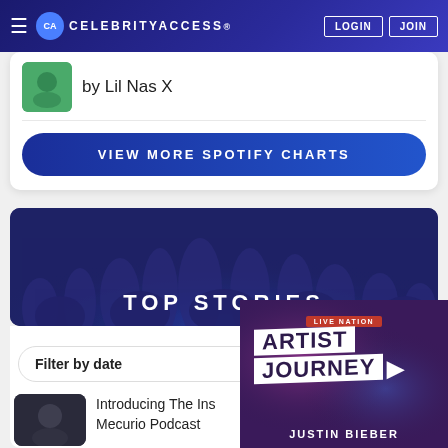CELEBRITYACCESS. | LOGIN | JOIN
by Lil Nas X
VIEW MORE SPOTIFY CHARTS
TOP STORIES
Filter by date
Introducing The Ins Mecurio Podcast
[Figure (illustration): Live Nation Artist Journey - Justin Bieber advertisement overlay with purple/magenta gradient background]